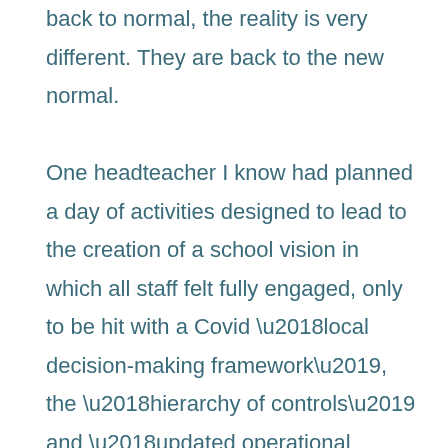back to normal, the reality is very different. They are back to the new normal.

One headteacher I know had planned a day of activities designed to lead to the creation of a school vision in which all staff felt fully engaged, only to be hit with a Covid ‘local decision-making framework’, the ‘hierarchy of controls’ and ‘updated operational guidance’ -